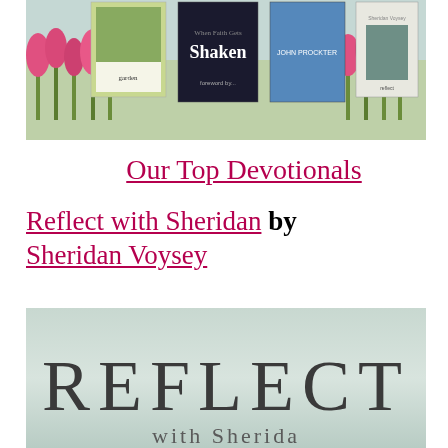[Figure (photo): Banner image showing pink tulips with book covers overlaid on top, including titles 'Shaken' by John Prockter and Sheridan Voysey book]
Our Top Devotionals
Reflect with Sheridan by Sheridan Voysey
[Figure (photo): Book cover of 'Reflect with Sheridan' showing a light mint/grey gradient background with large text reading REFLECT and partial text 'with Sheridan' below]